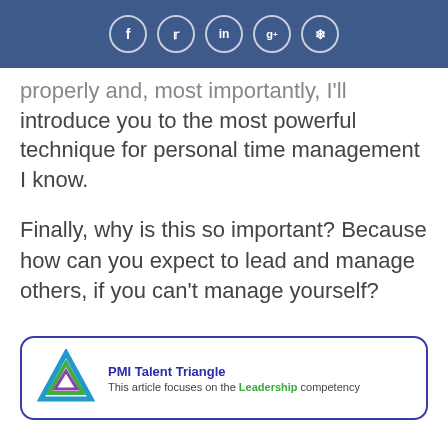Social media icons: f, twitter, in, g+, pinterest
properly and, most importantly, I'll introduce you to the most powerful technique for personal time management I know.
Finally, why is this so important? Because how can you expect to lead and manage others, if you can't manage yourself?
[Figure (infographic): PMI Talent Triangle box with triangle logo. Title: PMI Talent Triangle. Body: This article focuses on the Leadership competency.]